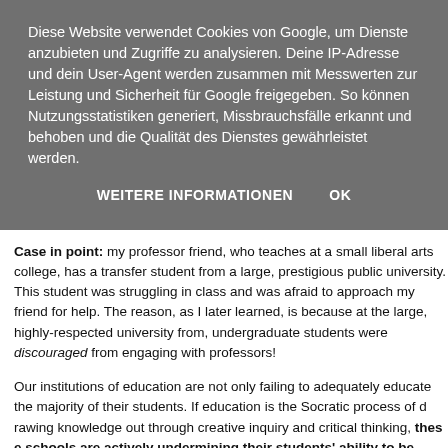Diese Website verwendet Cookies von Google, um Dienste anzubieten und Zugriffe zu analysieren. Deine IP-Adresse und dein User-Agent werden zusammen mit Messwerten zur Leistung und Sicherheit für Google freigegeben. So können Nutzungsstatistiken generiert, Missbrauchsfälle erkannt und behoben und die Qualität des Dienstes gewährleistet werden.
WEITERE INFORMATIONEN   OK
Case in point: my professor friend, who teaches at a small liberal arts college, has a transfer student from a large, prestigious public university. This student was struggling in class and was afraid to approach my friend for help. The reason, as I later learned, is because at the large, highly-respected university the student came from, undergraduate students were discouraged from engaging with their professors!
Our institutions of education are not only failing to adequately educate the vast majority of their students. If education is the Socratic process of drawing latent knowledge out through creative inquiry and critical thinking, these schools are actively undermining their students' ability to be educated at all.
The Lumiar Institute in Brazil has a more humane view of educat...